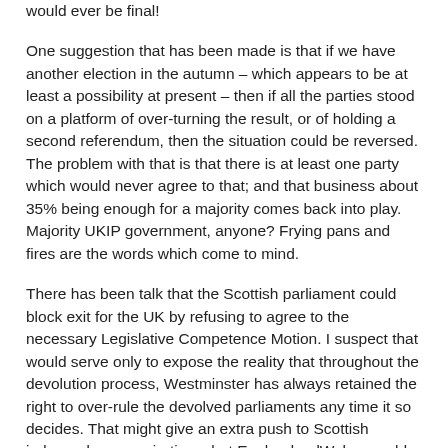would ever be final!
One suggestion that has been made is that if we have another election in the autumn – which appears to be at least a possibility at present – then if all the parties stood on a platform of over-turning the result, or of holding a second referendum, then the situation could be reversed.  The problem with that is that there is at least one party which would never agree to that; and that business about 35% being enough for a majority comes back into play.  Majority UKIP government, anyone?  Frying pans and fires are the words which come to mind.
There has been talk that the Scottish parliament could block exit for the UK by refusing to agree to the necessary Legislative Competence Motion.  I suspect that would serve only to expose the reality that throughout the devolution process, Westminster has always retained the right to over-rule the devolved parliaments any time it so decides.  That might give an extra push to Scottish independence aspirations, but EnglandandWales would still be out.
The Lib Dems have already said that they will fight the first post-Brexit election campaign on a platform of re-joining the